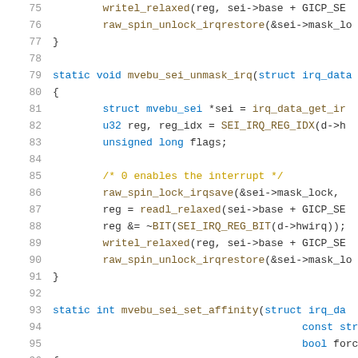[Figure (screenshot): Source code listing showing C kernel driver code for mvebu SEI interrupt controller, lines 75-96, with syntax highlighting. Functions include mvebu_sei_unmask_irq and mvebu_sei_set_affinity.]